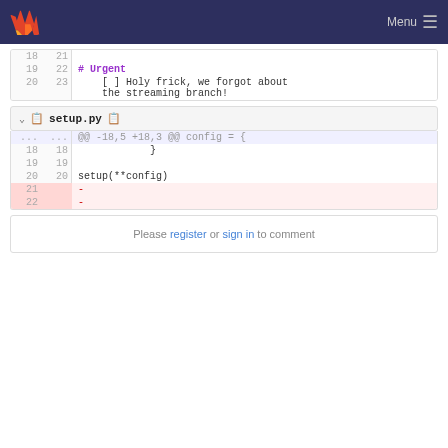GitLab — Menu
[Figure (screenshot): Partial diff view showing lines 18-23 with markdown content including # Urgent and a checkbox item '[ ] Holy frick, we forgot about the streaming branch!']
setup.py file header with collapse chevron and copy icon
[Figure (screenshot): Diff view for setup.py showing hunk @@ -18,5 +18,3 @@ config = { with lines 18-22, including deleted lines 21 and 22 marked with -]
Please register or sign in to comment